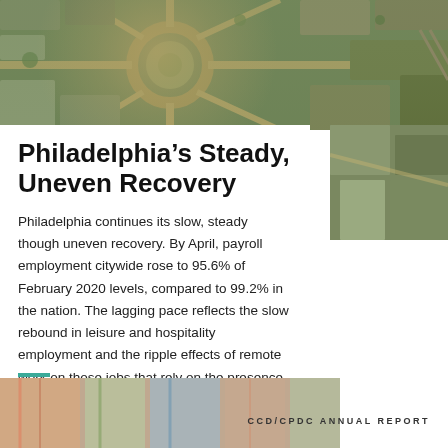[Figure (photo): Aerial view of a city with circular traffic roundabout, streets, and buildings]
Philadelphia’s Steady, Uneven Recovery
Philadelphia continues its slow, steady though uneven recovery. By April, payroll employment citywide rose to 95.6% of February 2020 levels, compared to 99.2% in the nation. The lagging pace reflects the slow rebound in leisure and hospitality employment and the ripple effects of remote work on those jobs that rely on the presence of other workers. Still, the unemployment rate continues to decline and the volume of office workers in Center City continues to rise.
[Figure (photo): Partial aerial or architectural photo on right side]
[Figure (photo): Colorful artistic or street-level photo at bottom left]
CCD/CPDC ANNUAL REPORT